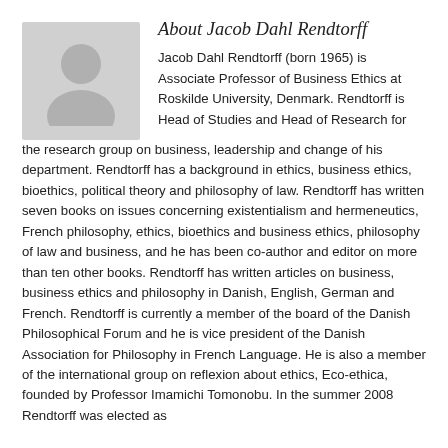[Figure (photo): Gray placeholder avatar/silhouette image of a person]
About Jacob Dahl Rendtorff
Jacob Dahl Rendtorff (born 1965) is Associate Professor of Business Ethics at Roskilde University, Denmark. Rendtorff is Head of Studies and Head of Research for the research group on business, leadership and change of his department. Rendtorff has a background in ethics, business ethics, bioethics, political theory and philosophy of law. Rendtorff has written seven books on issues concerning existentialism and hermeneutics, French philosophy, ethics, bioethics and business ethics, philosophy of law and business, and he has been co-author and editor on more than ten other books. Rendtorff has written articles on business, business ethics and philosophy in Danish, English, German and French. Rendtorff is currently a member of the board of the Danish Philosophical Forum and he is vice president of the Danish Association for Philosophy in French Language. He is also a member of the international group on reflexion about ethics, Eco-ethica, founded by Professor Imamichi Tomonobu. In the summer 2008 Rendtorff was elected as